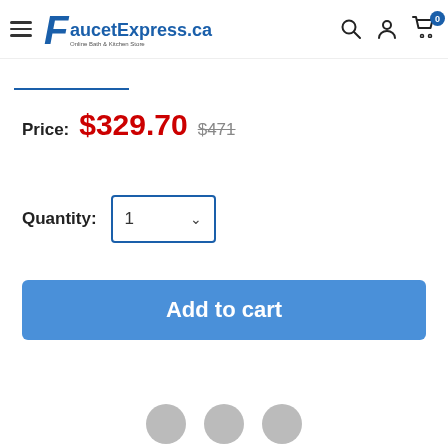FaucetExpress.ca — Online Bath & Kitchen Store
Price: $329.70 $471
Quantity: 1
Add to cart